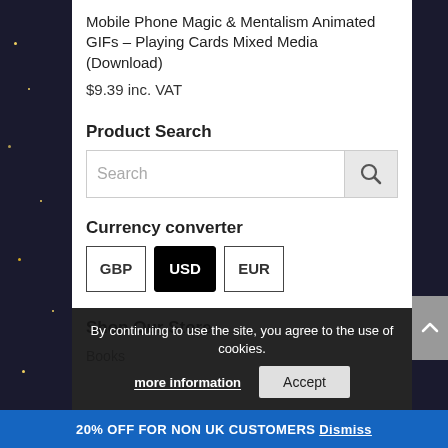Mobile Phone Magic & Mentalism Animated GIFs – Playing Cards Mixed Media (Download)
$9.39 inc. VAT
Product Search
Currency converter
Shop Our Store
Books
By continuing to use the site, you agree to the use of cookies.
more information
Accept
20% OFF FOR NON UK CUSTOMERS Dismiss